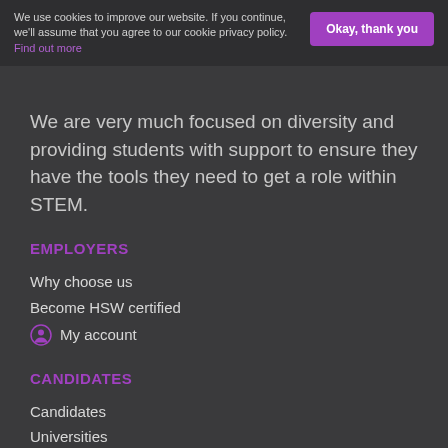We use cookies to improve our website. If you continue, we'll assume that you agree to our cookie privacy policy. Find out more
We are very much focused on diversity and providing students with support to ensure they have the tools they need to get a role within STEM.
EMPLOYERS
Why choose us
Become HSW certified
My account
CANDIDATES
Candidates
Universities
My account
USEFUL LINKS
FAQ